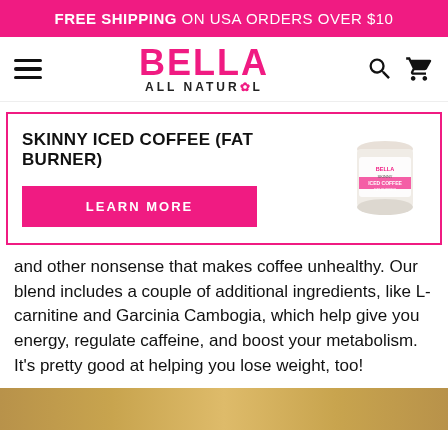FREE SHIPPING ON USA ORDERS OVER $10
[Figure (logo): Bella All Natural logo with hamburger menu, search and cart icons]
SKINNY ICED COFFEE (FAT BURNER)
[Figure (photo): Product image of Bella All Natural Skinny Iced Coffee canister]
LEARN MORE
and other nonsense that makes coffee unhealthy. Our blend includes a couple of additional ingredients, like L-carnitine and Garcinia Cambogia, which help give you energy, regulate caffeine, and boost your metabolism. It's pretty good at helping you lose weight, too!
[Figure (photo): Bottom strip photo — warm toned background image]